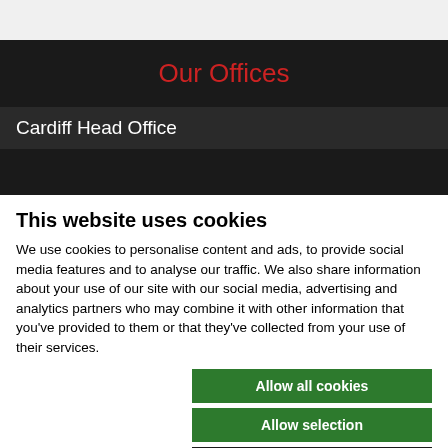Our Offices
Cardiff Head Office
This website uses cookies
We use cookies to personalise content and ads, to provide social media features and to analyse our traffic. We also share information about your use of our site with our social media, advertising and analytics partners who may combine it with other information that you've provided to them or that they've collected from your use of their services.
Allow all cookies
Allow selection
Use necessary cookies only
Necessary  Preferences  Statistics  Show details  Marketing